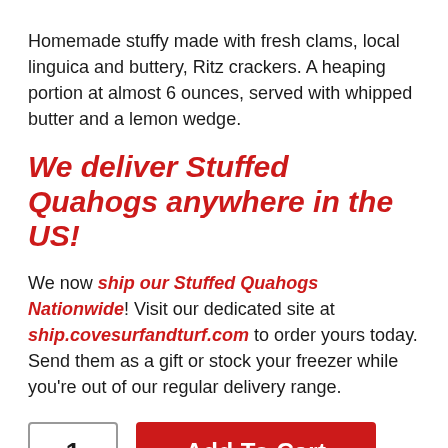Homemade stuffy made with fresh clams, local linguica and buttery, Ritz crackers. A heaping portion at almost 6 ounces, served with whipped butter and a lemon wedge.
We deliver Stuffed Quahogs anywhere in the US!
We now ship our Stuffed Quahogs Nationwide! Visit our dedicated site at ship.covesurfandturf.com to order yours today. Send them as a gift or stock your freezer while you're out of our regular delivery range.
1  Add To Cart